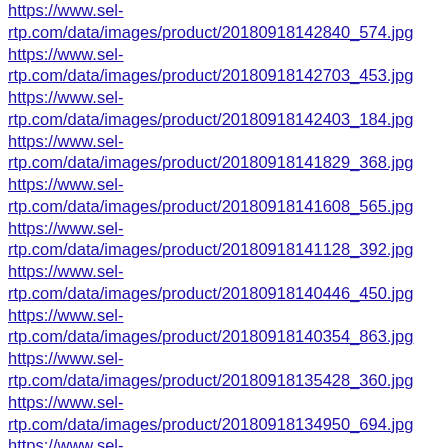https://www.sel-rtp.com/data/images/product/20180918142840_574.jpg
https://www.sel-rtp.com/data/images/product/20180918142703_453.jpg
https://www.sel-rtp.com/data/images/product/20180918142403_184.jpg
https://www.sel-rtp.com/data/images/product/20180918141829_368.jpg
https://www.sel-rtp.com/data/images/product/20180918141608_565.jpg
https://www.sel-rtp.com/data/images/product/20180918141128_392.jpg
https://www.sel-rtp.com/data/images/product/20180918140446_450.jpg
https://www.sel-rtp.com/data/images/product/20180918140354_863.jpg
https://www.sel-rtp.com/data/images/product/20180918135428_360.jpg
https://www.sel-rtp.com/data/images/product/20180918134950_694.jpg
https://www.sel-rtp.com/data/images/product/20180918134636_937.jpg
https://www.sel-rtp.com/data/images/product/20180918134416_193.jpg
https://www.sel-rtp.com/data/images/product/20180918115832_998.jpg